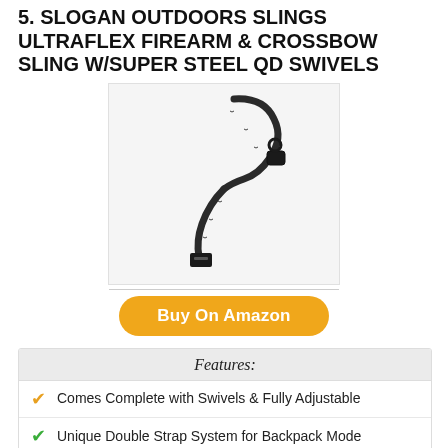5. SLOGAN OUTDOORS SLINGS ULTRAFLEX FIREARM & CROSSBOW SLING W/SUPER STEEL QD SWIVELS
[Figure (photo): Product photo of a black firearm/crossbow sling with quick-detach swivels and adjustable strap]
Buy On Amazon
| Features: |
| --- |
| ✓ Comes Complete with Swivels & Fully Adjustable |
| ✓ Unique Double Strap System for Backpack Mode |
| ✓ Maximum Non Slip Gripping Power |
| ✓ Instantly Shooting Position Ready |